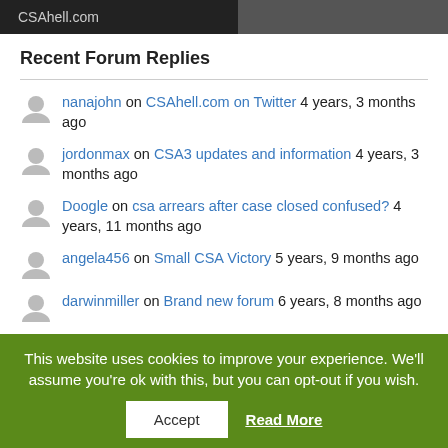[Figure (photo): Top banner image with CSAhell.com logo on dark background and portrait photo on right]
Recent Forum Replies
nanajohn on CSAhell.com on Twitter 4 years, 3 months ago
jordonmax on CSA3 updates and information 4 years, 3 months ago
Doogle on csa arrears after case closed confused? 4 years, 11 months ago
angela456 on Small CSA Victory 5 years, 9 months ago
darwinmiller on Brand new forum 6 years, 8 months ago
This website uses cookies to improve your experience. We'll assume you're ok with this, but you can opt-out if you wish.
Accept | Read More